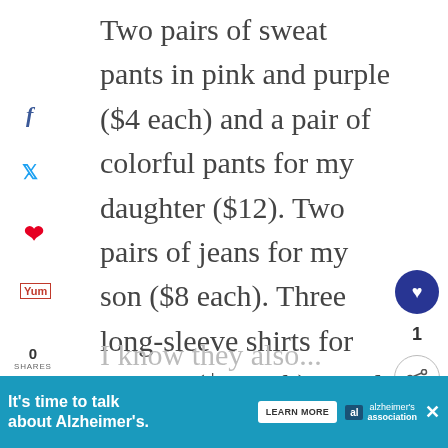Two pairs of sweat pants in pink and purple ($4 each) and a pair of colorful pants for my daughter ($12). Two pairs of jeans for my son ($8 each). Three long-sleeve shirts for my son ($4 each). Total: five pants and three shirts for under $50 – pretty impressive, especially when they're beautiful and comfortable clothes I know my kids will wear through the winter and beyond.
[Figure (other): Social media sharing sidebar with Facebook, Twitter, Pinterest, Yummly icons, and shares count of 0]
[Figure (other): Action buttons on right side: heart/save button (dark blue circle), count 1, share button]
[Figure (other): Advertisement banner at bottom: teal background, text 'It's time to talk about Alzheimer's.' with Learn More button and Alzheimer's Association logo]